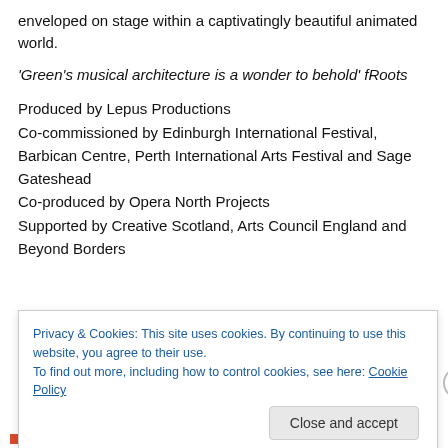enveloped on stage within a captivatingly beautiful animated world.
'Green's musical architecture is a wonder to behold' fRoots
Produced by Lepus Productions
Co-commissioned by Edinburgh International Festival, Barbican Centre, Perth International Arts Festival and Sage Gateshead
Co-produced by Opera North Projects
Supported by Creative Scotland, Arts Council England and Beyond Borders
Privacy & Cookies: This site uses cookies. By continuing to use this website, you agree to their use.
To find out more, including how to control cookies, see here: Cookie Policy
Close and accept